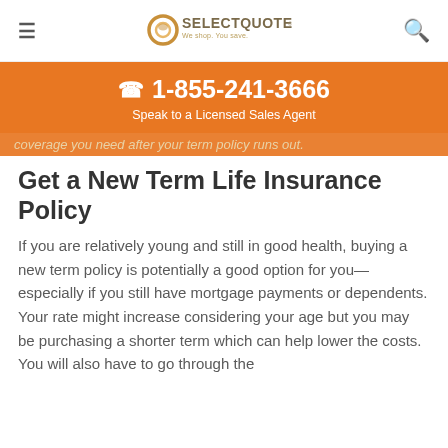SelectQuote — We shop. You save.
☎ 1-855-241-3666
Speak to a Licensed Sales Agent
coverage you need after your term policy runs out.
Get a New Term Life Insurance Policy
If you are relatively young and still in good health, buying a new term policy is potentially a good option for you—especially if you still have mortgage payments or dependents. Your rate might increase considering your age but you may be purchasing a shorter term which can help lower the costs. You will also have to go through the